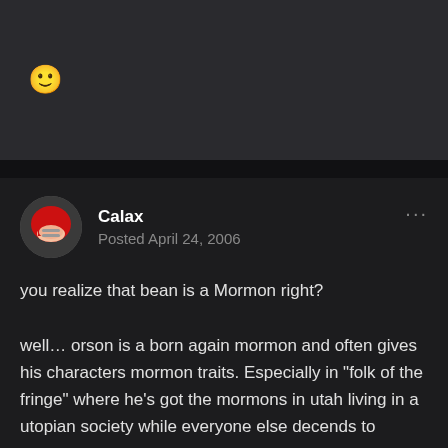[Figure (illustration): Smiley face emoji on dark background top section]
Calax
Posted April 24, 2006
you realize that bean is a Mormon right?
well… orson is a born again mormon and often gives his characters mormon traits. Especially in "folk of the fringe" where he's got the mormons in utah living in a utopian society while everyone else decends to